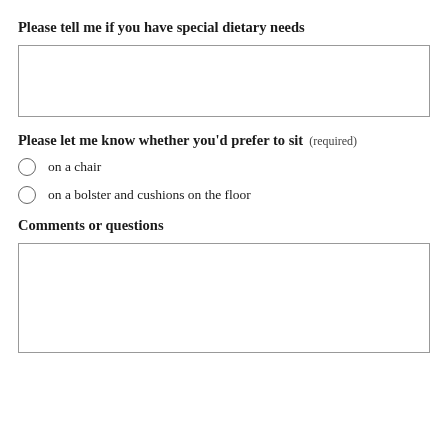Please tell me if you have special dietary needs
[text input box]
Please let me know whether you'd prefer to sit (required)
on a chair
on a bolster and cushions on the floor
Comments or questions
[text input box]